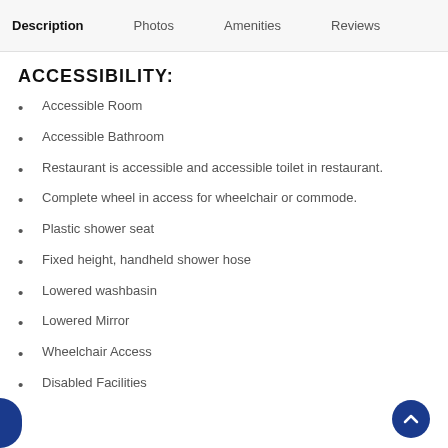Description   Photos   Amenities   Reviews
ACCESSIBILITY:
Accessible Room
Accessible Bathroom
Restaurant is accessible and accessible toilet in restaurant.
Complete wheel in access for wheelchair or commode.
Plastic shower seat
Fixed height, handheld shower hose
Lowered washbasin
Lowered Mirror
Wheelchair Access
Disabled Facilities